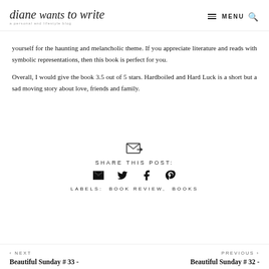diane wants to write — a personal and lifestyle blog | MENU
yourself for the haunting and melancholic theme. If you appreciate literature and reads with symbolic representations, then this book is perfect for you.
Overall, I would give the book 3.5 out of 5 stars. Hardboiled and Hard Luck is a short but a sad moving story about love, friends and family.
[Figure (illustration): Share this post icon (envelope with arrow), social share buttons: email, twitter, facebook, pinterest]
SHARE THIS POST:
LABELS: BOOK REVIEW, BOOKS
‹ NEXT
Beautiful Sunday # 33 -
PREVIOUS ›
Beautiful Sunday # 32 -